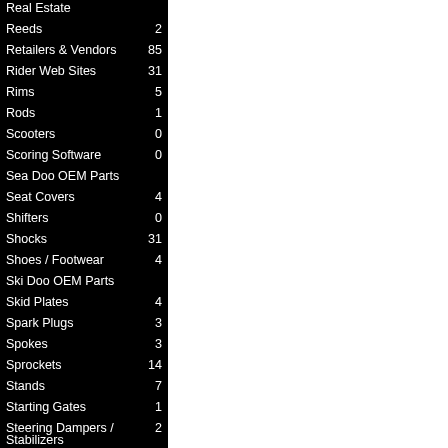Real Estate
Reeds 2
Retailers & Vendors 85
Rider Web Sites 31
Rims 5
Rods 1
Scooters 0
Scoring Software 0
Sea Doo OEM Parts
Seat Covers 4
Shifters 0
Shocks 31
Shoes / Footwear 4
Ski Doo OEM Parts
Skid Plates 4
Spark Plugs 3
Spokes 3
Sprockets 14
Stands 7
Starting Gates 1
Steering Dampers / Stabilizers 2
Stereos and Speakers 1
Stickers 8
Subframes 1
Supercross
Supplements 2
Suspension 31
Suzuki OEM Parts
Swing Arms 1